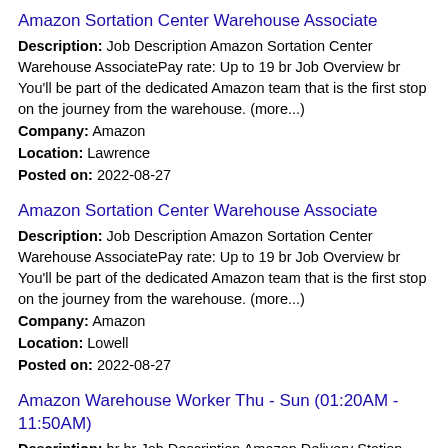Amazon Sortation Center Warehouse Associate
Description: Job Description Amazon Sortation Center Warehouse AssociatePay rate: Up to 19 br Job Overview br You'll be part of the dedicated Amazon team that is the first stop on the journey from the warehouse. (more...)
Company: Amazon
Location: Lawrence
Posted on: 2022-08-27
Amazon Sortation Center Warehouse Associate
Description: Job Description Amazon Sortation Center Warehouse AssociatePay rate: Up to 19 br Job Overview br You'll be part of the dedicated Amazon team that is the first stop on the journey from the warehouse. (more...)
Company: Amazon
Location: Lowell
Posted on: 2022-08-27
Amazon Warehouse Worker Thu - Sun (01:20AM - 11:50AM)
Description: br br Job Description Amazon Delivery Station Warehouse AssociatePay rate: Up to 17.95 br Job OverviewYou'll be part of the dedicated Amazon team at the delivery station - the last stop before (more...)
Company: Amazon
Location: Lowell